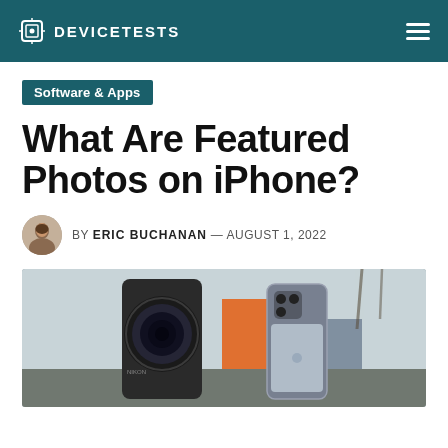DEVICETESTS
Software & Apps
What Are Featured Photos on iPhone?
BY ERIC BUCHANAN — AUGUST 1, 2022
[Figure (photo): A DSLR camera lens and an iPhone 13 Pro standing side by side outdoors, with an orange building and bare trees in the blurred background.]